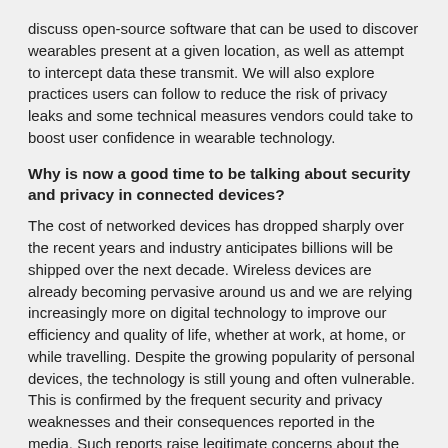discuss open-source software that can be used to discover wearables present at a given location, as well as attempt to intercept data these transmit. We will also explore practices users can follow to reduce the risk of privacy leaks and some technical measures vendors could take to boost user confidence in wearable technology.
Why is now a good time to be talking about security and privacy in connected devices?
The cost of networked devices has dropped sharply over the recent years and industry anticipates billions will be shipped over the next decade. Wireless devices are already becoming pervasive around us and we are relying increasingly more on digital technology to improve our efficiency and quality of life, whether at work, at home, or while travelling. Despite the growing popularity of personal devices, the technology is still young and often vulnerable. This is confirmed by the frequent security and privacy weaknesses and their consequences reported in the media. Such reports raise legitimate concerns about the trustworthiness of emerging Internet of Things devices. In my view, the potential and societal impact of these devices can only be fulfilled when users not only recognise their utility, but also feel confident that they cannot be exploited for malicious purposes.